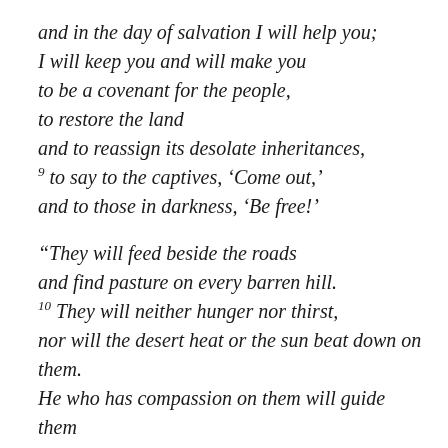and in the day of salvation I will help you;
I will keep you and will make you
to be a covenant for the people,
to restore the land
and to reassign its desolate inheritances,
9 to say to the captives, 'Come out,'
and to those in darkness, 'Be free!'

"They will feed beside the roads
and find pasture on every barren hill.
10 They will neither hunger nor thirst,
nor will the desert heat or the sun beat down on them.
He who has compassion on them will guide them
and lead them beside springs of water.
11 I will turn all my mountains into roads,